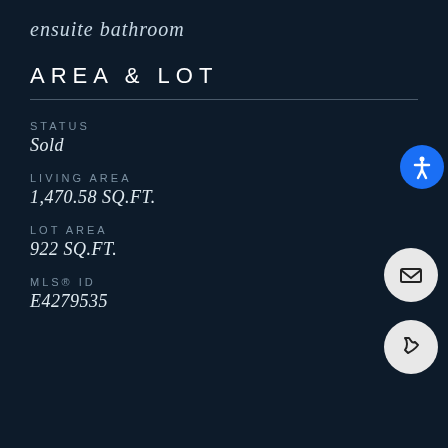ensuite bathroom
AREA & LOT
STATUS
Sold
LIVING AREA
1,470.58 SQ.FT.
LOT AREA
922 SQ.FT.
MLS® ID
E4279535